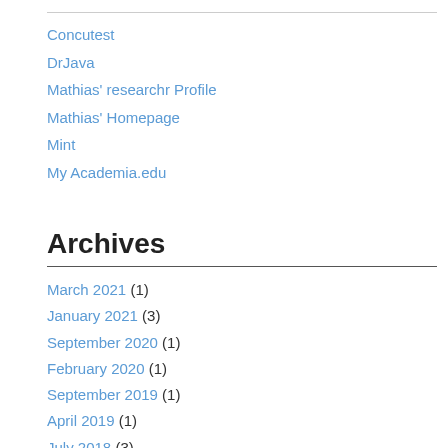Concutest
DrJava
Mathias' researchr Profile
Mathias' Homepage
Mint
My Academia.edu
Archives
March 2021 (1)
January 2021 (3)
September 2020 (1)
February 2020 (1)
September 2019 (1)
April 2019 (1)
July 2018 (3)